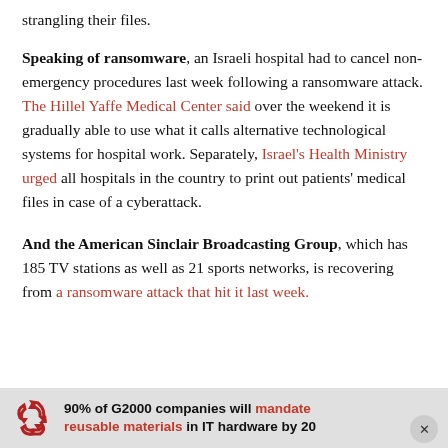strangling their files.
Speaking of ransomware, an Israeli hospital had to cancel non-emergency procedures last week following a ransomware attack. The Hillel Yaffe Medical Center said over the weekend it is gradually able to use what it calls alternative technological systems for hospital work. Separately, Israel's Health Ministry urged all hospitals in the country to print out patients' medical files in case of a cyberattack.
And the American Sinclair Broadcasting Group, which has 185 TV stations as well as 21 sports networks, is recovering from a ransomware attack that hit it last week.
90% of G2000 companies will mandate reusable materials in IT hardware by 2025